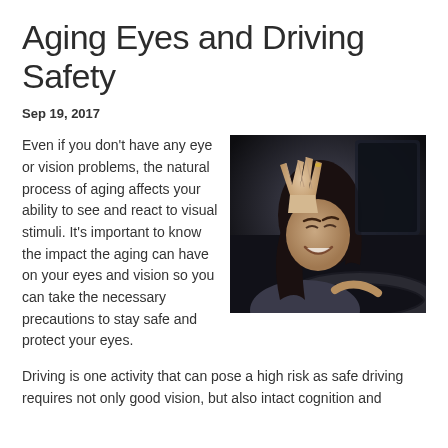Aging Eyes and Driving Safety
Sep 19, 2017
[Figure (photo): A woman sitting in a car at the steering wheel, shielding her eyes with her raised hand, appearing distressed by bright light or glare while driving.]
Even if you don't have any eye or vision problems, the natural process of aging affects your ability to see and react to visual stimuli. It's important to know the impact the aging can have on your eyes and vision so you can take the necessary precautions to stay safe and protect your eyes.
Driving is one activity that can pose a high risk as safe driving requires not only good vision, but also intact cognition and